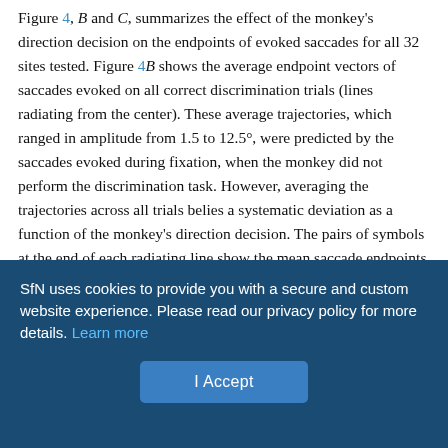Figure 4, B and C, summarizes the effect of the monkey's direction decision on the endpoints of evoked saccades for all 32 sites tested. Figure 4B shows the average endpoint vectors of saccades evoked on all correct discrimination trials (lines radiating from the center). These average trajectories, which ranged in amplitude from 1.5 to 12.5°, were predicted by the saccades evoked during fixation, when the monkey did not perform the discrimination task. However, averaging the trajectories across all trials belies a systematic deviation as a function of the monkey's direction decision. The pairs of symbols at the end of each radiating line show the mean saccade endpoints sorted by the monkey's decision (the dependence of endpoint position on target choice was significant for each experiment: two-dimensional Kolmogorov–Smirnov test; p < 0.01 ).
SfN uses cookies to provide you with a secure and custom website experience. Please read our privacy policy for more details. Learn more
I Accept